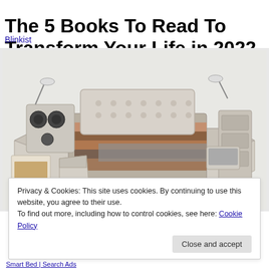The 5 Books To Read To Transform Your Life in 2022
Blinkist
[Figure (photo): A luxurious multi-functional smart bed with cream/beige leather upholstery, featuring built-in speakers, reading lamps, storage drawers, a massage chair, a laptop stand, and various compartments. The bed is shown from an angled overhead perspective on a white background.]
Privacy & Cookies: This site uses cookies. By continuing to use this website, you agree to their use.
To find out more, including how to control cookies, see here: Cookie Policy
Close and accept
Smart Bed | Search Ads